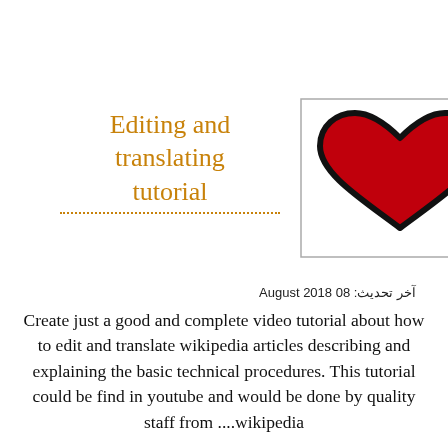Editing and translating tutorial
[Figure (illustration): Heart with EKG/heartbeat line icon: red heart shape with black outline, accompanied by a black ECG/pulse line extending to the right, on a white background with a thin border.]
آخر تحديث: 08 August 2018
Create just a good and complete video tutorial about how to edit and translate wikipedia articles describing and explaining the basic technical procedures. This tutorial could be find in youtube and would be done by quality staff from ....wikipedia